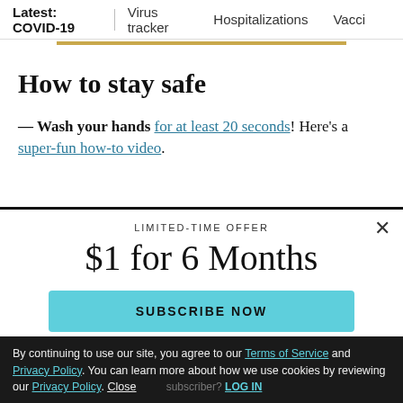Latest: COVID-19 | Virus tracker | Hospitalizations | Vacci
How to stay safe
— Wash your hands for at least 20 seconds! Here's a super-fun how-to video.
LIMITED-TIME OFFER
$1 for 6 Months
SUBSCRIBE NOW
By continuing to use our site, you agree to our Terms of Service and Privacy Policy. You can learn more about how we use cookies by reviewing our Privacy Policy. Close  Already a subscriber? LOG IN